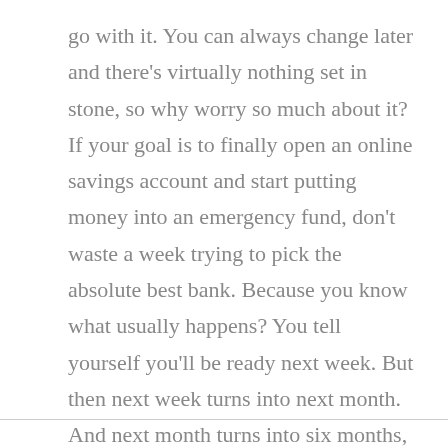go with it. You can always change later and there's virtually nothing set in stone, so why worry so much about it? If your goal is to finally open an online savings account and start putting money into an emergency fund, don't waste a week trying to pick the absolute best bank. Because you know what usually happens? You tell yourself you'll be ready next week. But then next week turns into next month. And next month turns into six months, and before you know it you've wasted a year and you're even further behind than you were when you started.